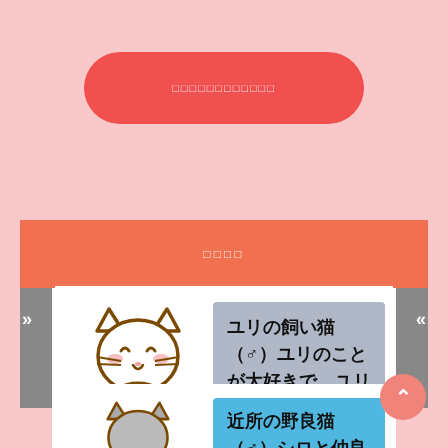[Figure (illustration): Pink rounded pill-shaped red button with white placeholder text (squares) on a pink background]
□□□□
[Figure (illustration): Cartoon white cat character named シロ (Shiro) with a smiling face, shown in line-drawing style]
ユリの飼い猫（♂）ユリのことが大好きで、ユリのことをいつも心配している。
[Figure (illustration): Cartoon gray cat character at bottom, partially visible]
近所の野良猫（♂）シロと仲良しで何故